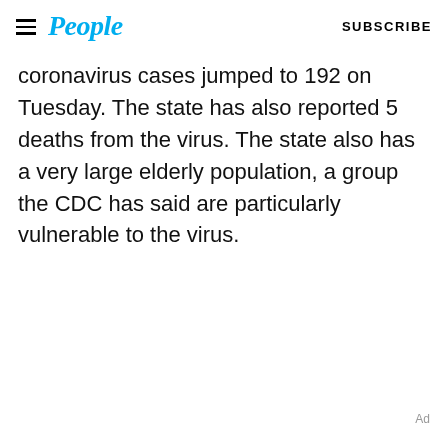People | SUBSCRIBE
coronavirus cases jumped to 192 on Tuesday. The state has also reported 5 deaths from the virus. The state also has a very large elderly population, a group the CDC has said are particularly vulnerable to the virus.
Ad